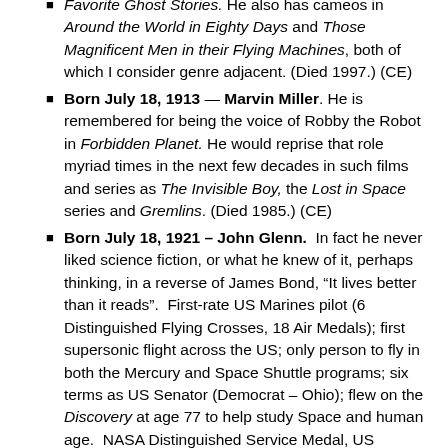Favorite Ghost Stories. He also has cameos in Around the World in Eighty Days and Those Magnificent Men in their Flying Machines, both of which I consider genre adjacent. (Died 1997.) (CE)
Born July 18, 1913 — Marvin Miller. He is remembered for being the voice of Robby the Robot in Forbidden Planet. He would reprise that role myriad times in the next few decades in such films and series as The Invisible Boy, the Lost in Space series and Gremlins. (Died 1985.) (CE)
Born July 18, 1921 – John Glenn. In fact he never liked science fiction, or what he knew of it, perhaps thinking, in a reverse of James Bond, "It lives better than it reads". First-rate US Marines pilot (6 Distinguished Flying Crosses, 18 Air Medals); first supersonic flight across the US; only person to fly in both the Mercury and Space Shuttle programs; six terms as US Senator (Democrat – Ohio); flew on the Discovery at age 77 to help study Space and human age. NASA Distinguished Service Medal, US Astronaut Hall of Fame, Congressional Gold Medal, Presidential Medal of